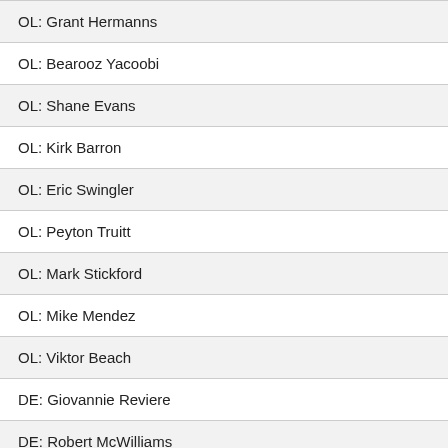OL: Grant Hermanns
OL: Bearooz Yacoobi
OL: Shane Evans
OL: Kirk Barron
OL: Eric Swingler
OL: Peyton Truitt
OL: Mark Stickford
OL: Mike Mendez
OL: Viktor Beach
DE: Giovannie Reviere
DE: Robert McWilliams
DE: Branson Deen
DE: Kai Higgins